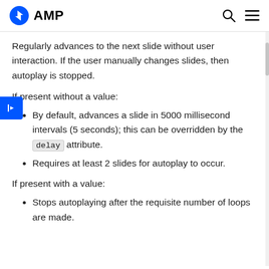AMP
Regularly advances to the next slide without user interaction. If the user manually changes slides, then autoplay is stopped.
If present without a value:
By default, advances a slide in 5000 millisecond intervals (5 seconds); this can be overridden by the delay attribute.
Requires at least 2 slides for autoplay to occur.
If present with a value:
Stops autoplaying after the requisite number of loops are made.